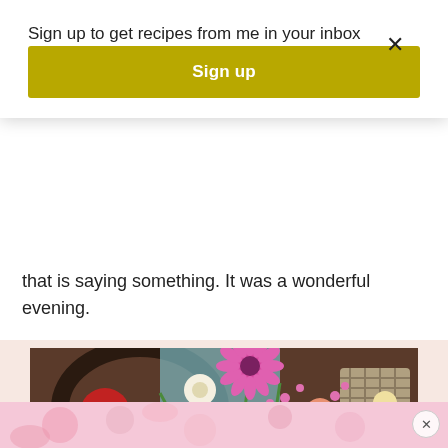Sign up to get recipes from me in your inbox
Sign up
that is saying something. It was a wonderful evening.
[Figure (photo): A colorful floral arrangement with pink gerbera daisies, tulips, ranunculus, and small purple and pink flowers on a dining table with a dark wooden chair in the background.]
[Figure (photo): Bottom advertisement banner with a floral/pink background and a close (X) button.]